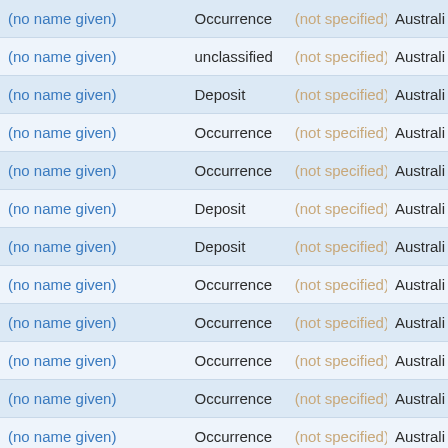| (no name given) | Occurrence | (not specified) | Australi |
| (no name given) | unclassified | (not specified) | Australi |
| (no name given) | Deposit | (not specified) | Australi |
| (no name given) | Occurrence | (not specified) | Australi |
| (no name given) | Occurrence | (not specified) | Australi |
| (no name given) | Deposit | (not specified) | Australi |
| (no name given) | Deposit | (not specified) | Australi |
| (no name given) | Occurrence | (not specified) | Australi |
| (no name given) | Occurrence | (not specified) | Australi |
| (no name given) | Occurrence | (not specified) | Australi |
| (no name given) | Occurrence | (not specified) | Australi |
| (no name given) | Occurrence | (not specified) | Australi |
| (no name given) | Occurrence | (not specified) | Australi |
| (no name given) | Occurrence | (not specified) | Australi |
| (no name given) | Occurrence | (not specified) | Australi |